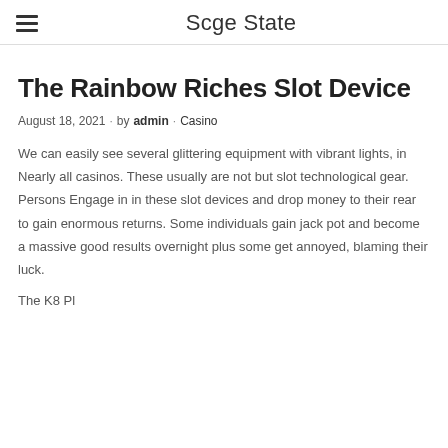Scge State
The Rainbow Riches Slot Device
August 18, 2021 · by admin · Casino
We can easily see several glittering equipment with vibrant lights, in Nearly all casinos. These usually are not but slot technological gear. Persons Engage in in these slot devices and drop money to their rear to gain enormous returns. Some individuals gain jack pot and become a massive good results overnight plus some get annoyed, blaming their luck.
The K8 Plus Ferrari 950 bits and blasts across the screen